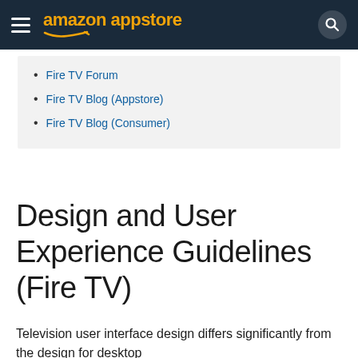amazon appstore
Fire TV Forum
Fire TV Blog (Appstore)
Fire TV Blog (Consumer)
Design and User Experience Guidelines (Fire TV)
Television user interface design differs significantly from the design for desktop